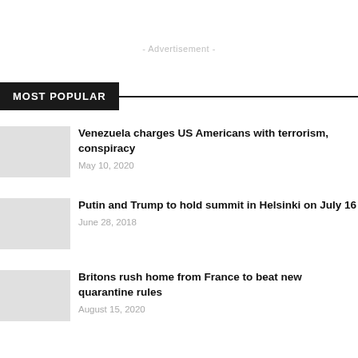- Advertisement -
MOST POPULAR
Venezuela charges US Americans with terrorism, conspiracy
May 10, 2020
Putin and Trump to hold summit in Helsinki on July 16
June 28, 2018
Britons rush home from France to beat new quarantine rules
August 15, 2020